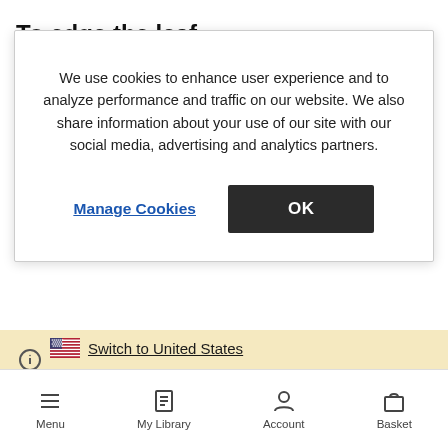To edge the leaf
We use cookies to enhance user experience and to analyze performance and traffic on our website. We also share information about your use of our site with our social media, advertising and analytics partners.
Manage Cookies   OK
Switch to United States
Stay on United Kingdom
Menu   My Library   Account   Basket